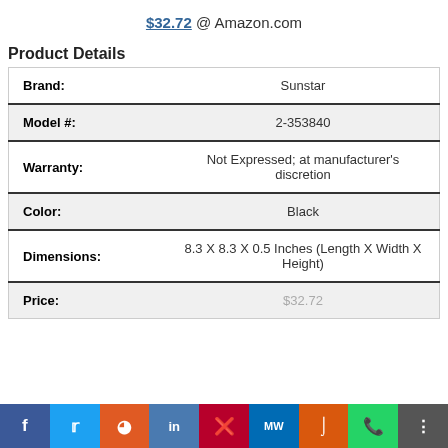$32.72 @ Amazon.com
Product Details
| Field | Value |
| --- | --- |
| Brand: | Sunstar |
| Model #: | 2-353840 |
| Warranty: | Not Expressed; at manufacturer's discretion |
| Color: | Black |
| Dimensions: | 8.3 X 8.3 X 0.5 Inches (Length X Width X Height) |
| Price: | $32.72 |